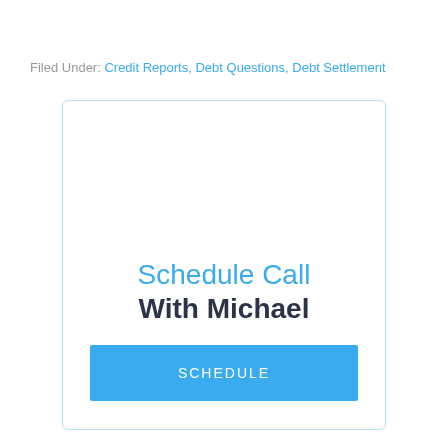Filed Under: Credit Reports, Debt Questions, Debt Settlement
[Figure (other): A call scheduling card widget with 'Schedule Call With Michael' text and a blue SCHEDULE button, inside a light-blue bordered rounded rectangle.]